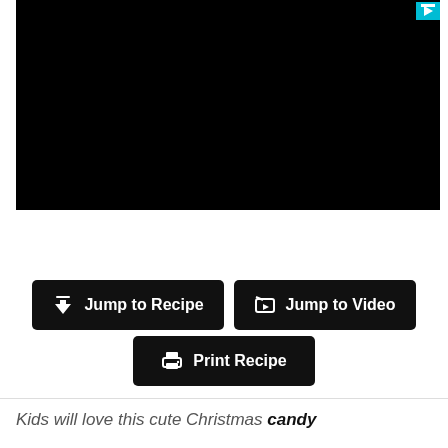[Figure (screenshot): Black video player area with a teal/cyan play button icon in the top right corner]
Jump to Recipe
Jump to Video
Print Recipe
Kids will love this cute Christmas candy